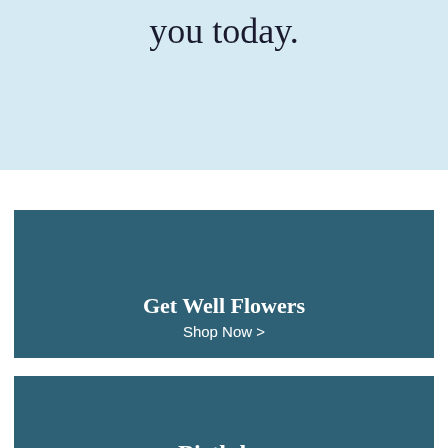you today.
[Figure (infographic): Dark teal banner card with text 'Get Well Flowers' and 'Shop Now >']
Get Well Flowers
Shop Now >
[Figure (infographic): Dark teal banner card with text 'Birthday' and 'Shop Now >']
Birthday
Shop Now >